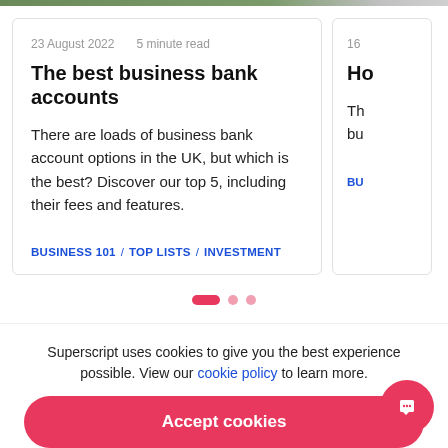[Figure (photo): Top image strip partially visible at top of page, appears to be a nature/outdoor photo]
23 August 2022   5 minute read
The best business bank accounts
There are loads of business bank account options in the UK, but which is the best? Discover our top 5, including their fees and features.
BUSINESS 101 / TOP LISTS / INVESTMENT
16
Ho
Th bu
BU
[Figure (infographic): Carousel pagination dots: one elongated active dot in pink/red, two smaller inactive dots]
Superscript uses cookies to give you the best experience possible. View our cookie policy to learn more.
Accept cookies